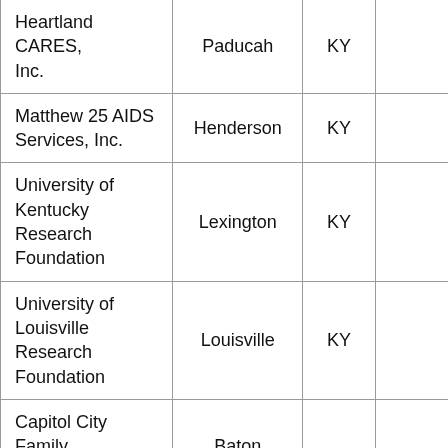| Heartland CARES, Inc. | Paducah | KY |  |
| Matthew 25 AIDS Services, Inc. | Henderson | KY |  |
| University of Kentucky Research Foundation | Lexington | KY |  |
| University of Louisville Research Foundation | Louisville | KY |  |
| Capitol City Family Health Center, Inc. | Baton Rouge | LA |  |